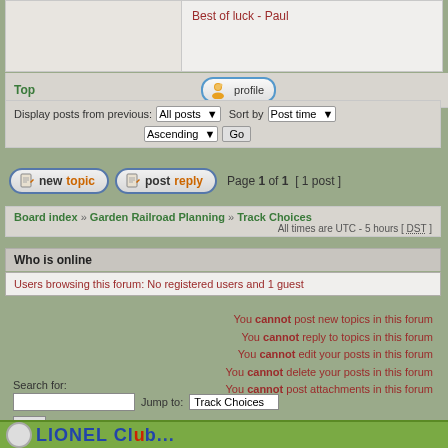Best of luck - Paul
Top
profile
Display posts from previous: All posts ▾  Sort by Post time ▾  Ascending ▾  Go
new topic   post reply   Page 1 of 1  [ 1 post ]
Board index » Garden Railroad Planning » Track Choices
All times are UTC - 5 hours [ DST ]
Who is online
Users browsing this forum: No registered users and 1 guest
You cannot post new topics in this forum
You cannot reply to topics in this forum
You cannot edit your posts in this forum
You cannot delete your posts in this forum
You cannot post attachments in this forum
Search for:
Jump to: Track Choices
Go
LIONEL Club...